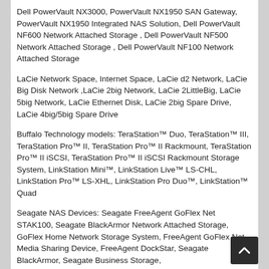Dell PowerVault NX3000, PowerVault NX1950 SAN Gateway, PowerVault NX1950 Integrated NAS Solution, Dell PowerVault NF600 Network Attached Storage , Dell PowerVault NF500 Network Attached Storage , Dell PowerVault NF100 Network Attached Storage
LaCie Network Space, Internet Space, LaCie d2 Network, LaCie Big Disk Network ,LaCie 2big Network, LaCie 2LittleBig, LaCie 5big Network, LaCie Ethernet Disk, LaCie 2big Spare Drive, LaCie 4big/5big Spare Drive
Buffalo Technology models: TeraStation™ Duo, TeraStation™ III, TeraStation Pro™ II, TeraStation Pro™ II Rackmount, TeraStation Pro™ II iSCSI, TeraStation Pro™ II iSCSI Rackmount Storage System, LinkStation Mini™, LinkStation Live™ LS-CHL, LinkStation Pro™ LS-XHL, LinkStation Pro Duo™, LinkStation™ Quad
Seagate NAS Devices: Seagate FreeAgent GoFlex Net STAK100, Seagate BlackArmor Network Attached Storage, GoFlex Home Network Storage System, FreeAgent GoFlex Net Media Sharing Device, FreeAgent DockStar, Seagate BlackArmor, Seagate Business Storage,
Buffalo Technology models: TeraStation™ Duo, TeraStation™ III, TeraStation Pro™ II, TeraStation Pro™ II Rackmount, TeraStation Pro™ II iSCSI, TeraStation Pro™ II iSCSI Rackmount Storage System, LinkStation Mini™, LinkStation Live™ LS-CHL,